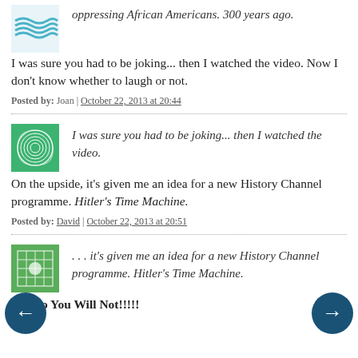oppressing African Americans. 300 years ago.
I was sure you had to be joking... then I watched the video. Now I don't know whether to laugh or not.
Posted by: Joan | October 22, 2013 at 20:44
[Figure (illustration): Green swirl avatar icon]
I was sure you had to be joking... then I watched the video.
On the upside, it's given me an idea for a new History Channel programme. Hitler's Time Machine.
Posted by: David | October 22, 2013 at 20:51
[Figure (illustration): Green grid/mesh avatar icon]
. . . it's given me an idea for a new History Channel programme. Hitler's Time Machine.
Oh, No You Will Not!!!!!